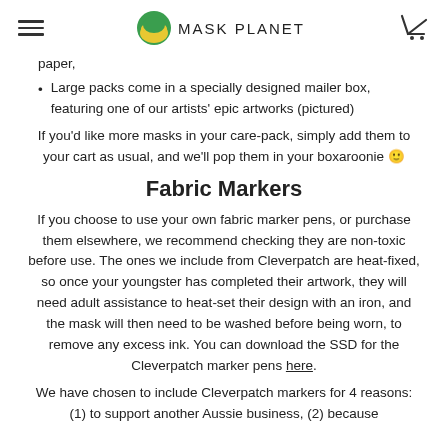MASK PLANET
paper,
Large packs come in a specially designed mailer box, featuring one of our artists' epic artworks (pictured)
If you'd like more masks in your care-pack, simply add them to your cart as usual, and we'll pop them in your boxaroonie 🙂
Fabric Markers
If you choose to use your own fabric marker pens, or purchase them elsewhere, we recommend checking they are non-toxic before use. The ones we include from Cleverpatch are heat-fixed, so once your youngster has completed their artwork, they will need adult assistance to heat-set their design with an iron, and the mask will then need to be washed before being worn, to remove any excess ink. You can download the SSD for the Cleverpatch marker pens here.
We have chosen to include Cleverpatch markers for 4 reasons: (1) to support another Aussie business, (2) because